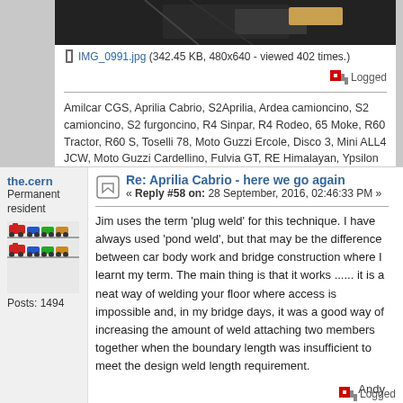[Figure (photo): Dark photo of car bodywork/welding area, partially visible at top of page]
IMG_0991.jpg (342.45 KB, 480x640 - viewed 402 times.)
Logged
Amilcar CGS, Aprilia Cabrio, S2Aprilia, Ardea camioncino, S2 camioncino, S2 furgoncino, R4 Sinpar, R4 Rodeo, 65 Moke, R60 Tractor, R60 S, Toselli 78, Moto Guzzi Ercole, Disco 3, Mini ALL4 JCW, Moto Guzzi Cardellino, Fulvia GT, RE Himalayan, Ypsilon
Re: Aprilia Cabrio - here we go again
« Reply #58 on: 28 September, 2016, 02:46:33 PM »
the.cern
Permanent resident
[Figure (photo): Avatar image showing colorful toy train illustrations]
Posts: 1494
Jim uses the term 'plug weld' for this technique. I have always used 'pond weld', but that may be the difference between car body work and bridge construction where I learnt my term. The main thing is that it works ...... it is a neat way of welding your floor where access is impossible and, in my bridge days, it was a good way of increasing the amount of weld attaching two members together when the boundary length was insufficient to meet the design weld length requirement.
Andy
Logged